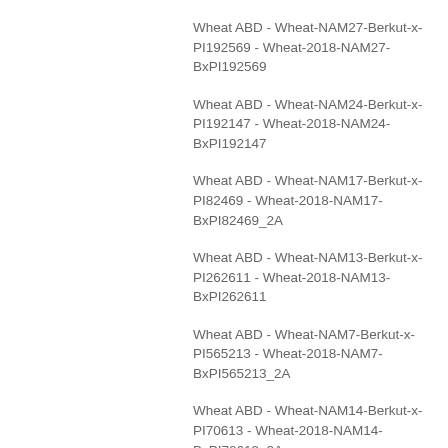Wheat ABD - Wheat-NAM27-Berkut-x-PI192569 - Wheat-2018-NAM27-BxPI192569
Wheat ABD - Wheat-NAM24-Berkut-x-PI192147 - Wheat-2018-NAM24-BxPI192147
Wheat ABD - Wheat-NAM17-Berkut-x-PI82469 - Wheat-2018-NAM17-BxPI82469_2A
Wheat ABD - Wheat-NAM13-Berkut-x-PI262611 - Wheat-2018-NAM13-BxPI262611
Wheat ABD - Wheat-NAM7-Berkut-x-PI565213 - Wheat-2018-NAM7-BxPI565213_2A
Wheat ABD - Wheat-NAM14-Berkut-x-PI70613 - Wheat-2018-NAM14-BxPI70613_2A
Wheat ABD - Wheat-NAM23-Berkut-x-